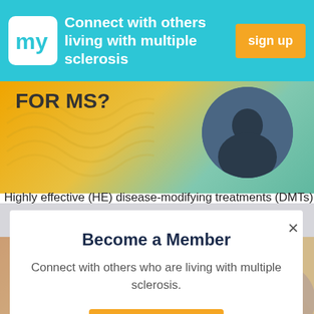Connect with others living with multiple sclerosis  sign up
[Figure (screenshot): Banner image with text FOR MS? and a person in a circle on an orange/teal gradient background with wavy lines]
Highly effective (HE) disease-modifying treatments (DMTs)
Become a Member
Connect with others who are living with multiple sclerosis.
get started
[Figure (photo): Orange and yellow geometric background with Bladder Spasms text and a person with brown hair on the right]